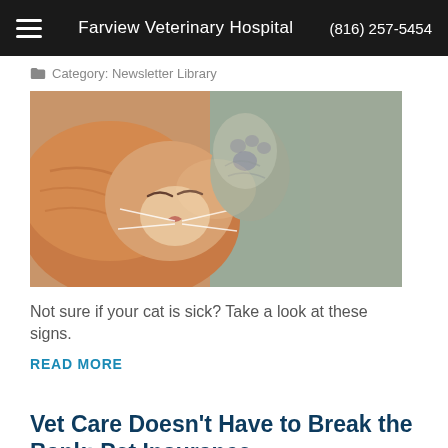Farview Veterinary Hospital  (816) 257-5454
Category: Newsletter Library
[Figure (photo): Close-up photo of a cat's face, showing fur, nose, and paw raised near face]
Not sure if your cat is sick? Take a look at these signs.
READ MORE
Vet Care Doesn't Have to Break the Bank; Pet Insurance
Category: Newsletter Library
[Figure (photo): Partial photo of an animal at bottom of page]